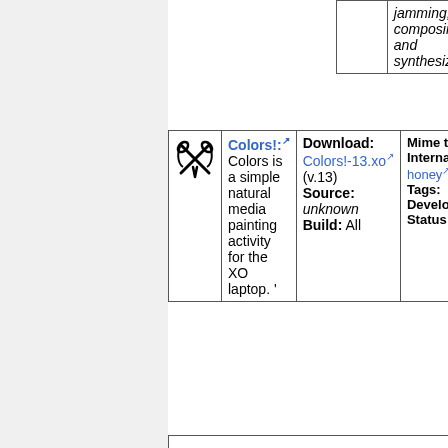| Icon | Name/Description | Download/Source/Build | Mime type/International/Tags/Developer/Status |
| --- | --- | --- | --- |
| [icon] | jamming, composing, and synthesizing | Build: All |  |
| [colors icon] | Colors!:
Colors is a simple natural media painting activity for the XO laptop. ' | Download: Colors!-13.xo (v.13)
Source: unknown
Build: All | Mime ty...
Internat...
honey
Tags:
Develop...
Status: |